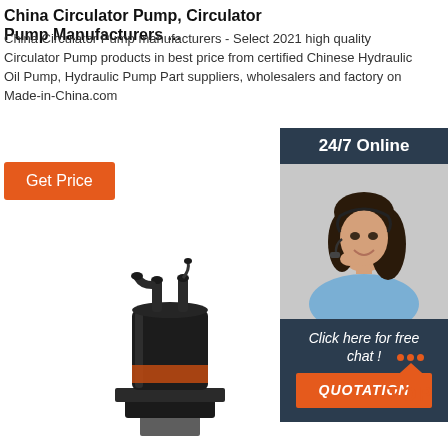China Circulator Pump, Circulator Pump Manufacturers ...
China Circulator Pump manufacturers - Select 2021 high quality Circulator Pump products in best price from certified Chinese Hydraulic Oil Pump, Hydraulic Pump Part suppliers, wholesalers and factory on Made-in-China.com
Get Price
[Figure (photo): 24/7 Online banner with female customer service representative wearing headset, with 'Click here for free chat!' text and orange QUOTATION button]
[Figure (photo): Black circulator pump product photo]
[Figure (infographic): Orange TOP button with triangle and dots design]